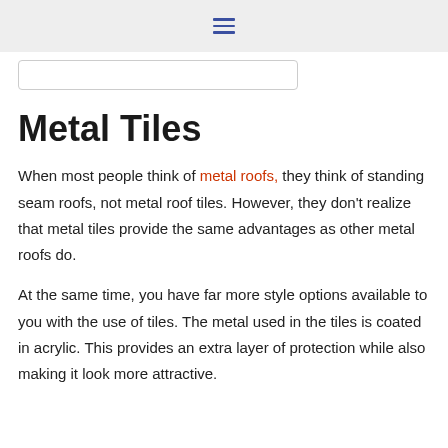☰
[search bar]
Metal Tiles
When most people think of metal roofs, they think of standing seam roofs, not metal roof tiles. However, they don't realize that metal tiles provide the same advantages as other metal roofs do.
At the same time, you have far more style options available to you with the use of tiles. The metal used in the tiles is coated in acrylic. This provides an extra layer of protection while also making it look more attractive.